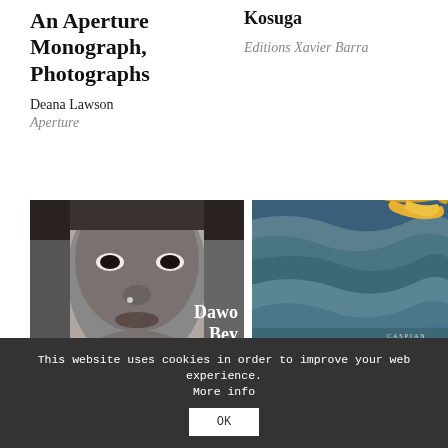An Aperture Monograph, Photographs
Deana Lawson
Aperture
Kosuga
Editions Xavier Barra
[Figure (photo): Black and white close-up portrait of a young woman with nose piercing, with text overlay reading 'Dawo Bey Seein']
[Figure (photo): Ocean waves photograph with blue-grey water and an orange/yellow element, with small text overlay reading 'CASPIAN' and 'CHLOE NEWZ MATHEWS']
This website uses cookies in order to improve your web experience. More info
OK